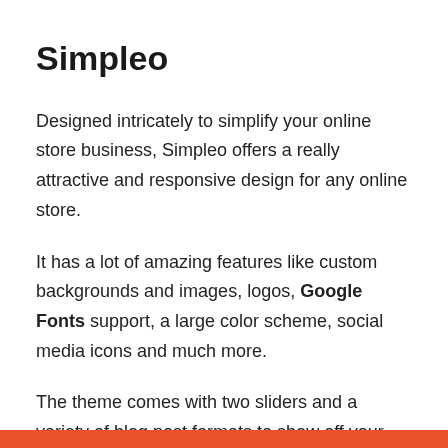Simpleo
Designed intricately to simplify your online store business, Simpleo offers a really attractive and responsive design for any online store.
It has a lot of amazing features like custom backgrounds and images, logos, Google Fonts support, a large color scheme, social media icons and much more.
The theme comes with two sliders and a variety of blog post formats to show off your products better. All this is for free, isn't